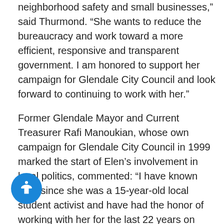neighborhood safety and small businesses,” said Thurmond. “She wants to reduce the bureaucracy and work toward a more efficient, responsive and transparent government. I am honored to support her campaign for Glendale City Council and look forward to continuing to work with her.”
Former Glendale Mayor and Current Treasurer Rafi Manoukian, whose own campaign for Glendale City Council in 1999 marked the start of Elen’s involvement in local politics, commented: “I have known Elen since she was a 15-year-old local student activist and have had the honor of working with her for the last 22 years on issues facing Glendale. Elen will be a forward, out-of-the-box thinking Councilmember who recognizes shortcomings and courage to not only point them out, but offer and ment concrete solutions. She has my complete